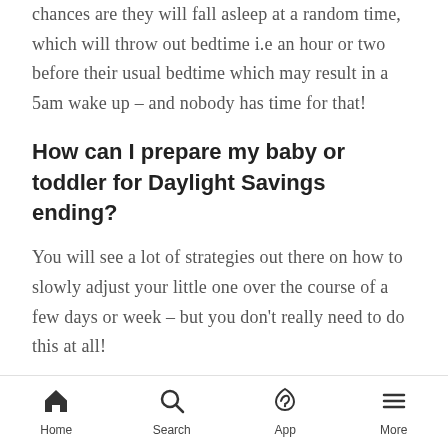chances are they will fall asleep at a random time, which will throw out bedtime i.e an hour or two before their usual bedtime which may result in a 5am wake up – and nobody has time for that!
How can I prepare my baby or toddler for Daylight Savings ending?
You will see a lot of strategies out there on how to slowly adjust your little one over the course of a few days or week – but you don't really need to do this at all!
Home  Search  App  More